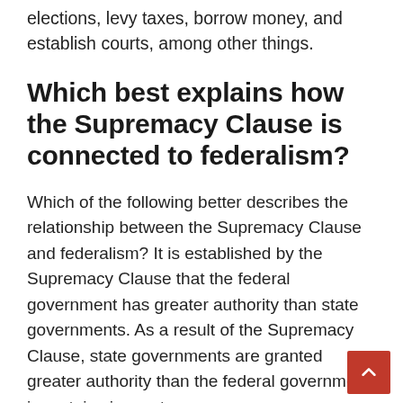elections, levy taxes, borrow money, and establish courts, among other things.
Which best explains how the Supremacy Clause is connected to federalism?
Which of the following better describes the relationship between the Supremacy Clause and federalism? It is established by the Supremacy Clause that the federal government has greater authority than state governments. As a result of the Supremacy Clause, state governments are granted greater authority than the federal government in certain circumstances.